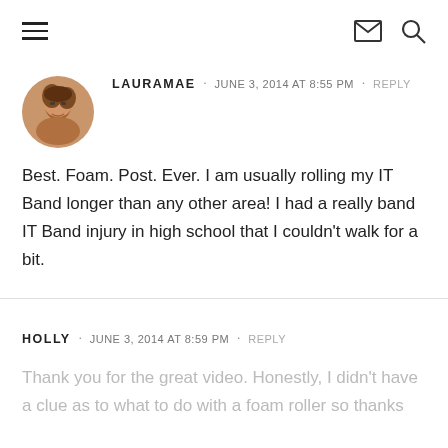navigation header with hamburger menu, mail icon, and search icon
LAURAMAE · JUNE 3, 2014 AT 8:55 PM · REPLY
Best. Foam. Post. Ever. I am usually rolling my IT Band longer than any other area! I had a really band IT Band injury in high school that I couldn't walk for a bit.
HOLLY · JUNE 3, 2014 AT 8:59 PM · REPLY
Thank you for the great video. Honestly, I didn't have a clue as to what to do with a foam roller so thanks